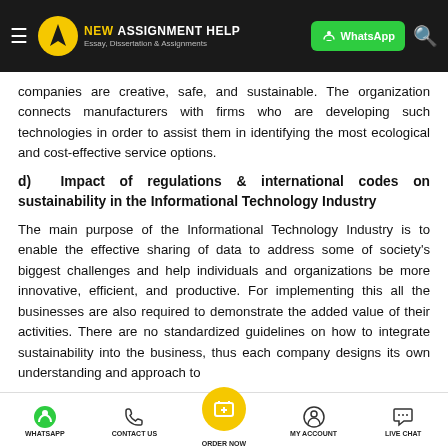NEW ASSIGNMENT HELP - Essay, Dissertation & Assignments
companies are creative, safe, and sustainable. The organization connects manufacturers with firms who are developing such technologies in order to assist them in identifying the most ecological and cost-effective service options.
d) Impact of regulations & international codes on sustainability in the Informational Technology Industry
The main purpose of the Informational Technology Industry is to enable the effective sharing of data to address some of society's biggest challenges and help individuals and organizations be more innovative, efficient, and productive. For implementing this all the businesses are also required to demonstrate the added value of their activities. There are no standardized guidelines on how to integrate sustainability into the business, thus each company designs its own understanding and approach to
WHATSAPP  CONTACT US  ORDER NOW  MY ACCOUNT  LIVE CHAT